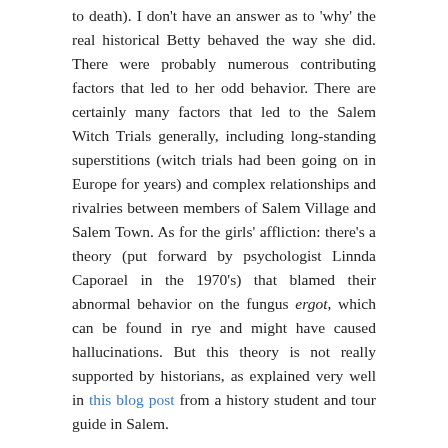to death). I don't have an answer as to 'why' the real historical Betty behaved the way she did. There were probably numerous contributing factors that led to her odd behavior. There are certainly many factors that led to the Salem Witch Trials generally, including long-standing superstitions (witch trials had been going on in Europe for years) and complex relationships and rivalries between members of Salem Village and Salem Town. As for the girls' affliction: there's a theory (put forward by psychologist Linnda Caporael in the 1970's) that blamed their abnormal behavior on the fungus ergot, which can be found in rye and might have caused hallucinations. But this theory is not really supported by historians, as explained very well in this blog post from a history student and tour guide in Salem.
In any case, my poem is not trying to explain exactly what happened to the girls, and it's certainly not delving into the complex origins of the trials themselves. What I am trying to do is explore a certain state of being, a state of boredom...